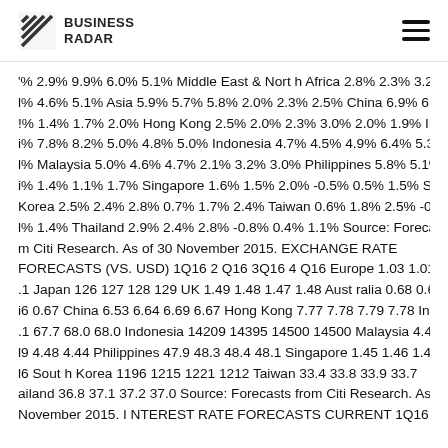Business Radar
'% 2.9% 9.9% 6.0% 5.1% Middle East & North Africa 2.8% 2.3% 3.2% l% 4.6% 5.1% Asia 5.9% 5.7% 5.8% 2.0% 2.3% 2.5% China 6.9% 6.3% !% 1.4% 1.7% 2.0% Hong Kong 2.5% 2.0% 2.3% 3.0% 2.0% 1.9% Ind i% 7.8% 8.2% 5.0% 4.8% 5.0% Indonesia 4.7% 4.5% 4.9% 6.4% 5.3% l% Malaysia 5.0% 4.6% 4.7% 2.1% 3.2% 3.0% Philippines 5.8% 5.1% i% 1.4% 1.1% 1.7% Singapore 1.6% 1.5% 2.0% -0.5% 0.5% 1.5% Sou Korea 2.5% 2.4% 2.8% 0.7% 1.7% 2.4% Taiwan 0.6% 1.8% 2.5% -0.2% l% 1.4% Thailand 2.9% 2.4% 2.8% -0.8% 0.4% 1.1% Source: Forecasts from Citi Research. As of 30 November 2015. EXCHANGE RATE FORECASTS (VS. USD) 1Q16 2Q16 3Q16 4Q16 Europe 1.03 1.01 1.00 .1 Japan 126 127 128 129 UK 1.49 1.48 1.47 1.48 Australia 0.68 0.67 i6 0.67 China 6.53 6.64 6.69 6.67 Hong Kong 7.77 7.78 7.79 7.78 Indi .1 67.7 68.0 68.0 Indonesia 14209 14395 14500 14500 Malaysia 4.47 l9 4.48 4.44 Philippines 47.9 48.3 48.4 48.1 Singapore 1.45 1.46 1.47 l6 South Korea 1196 1215 1221 1212 Taiwan 33.4 33.8 33.9 33.7 ailand 36.8 37.1 37.2 37.0 Source: Forecasts from Citi Research. As November 2015. INTEREST RATE FORECASTS CURRENT 1Q16 2Q